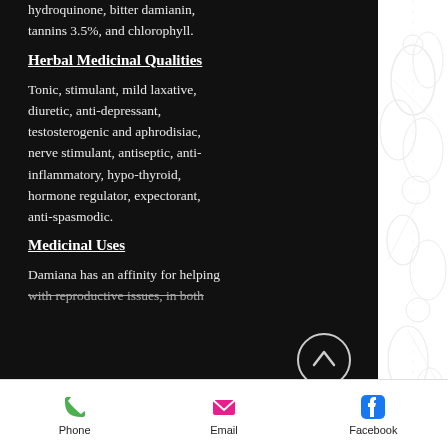hydroquinone, bitter damianin, tannins 3.5%, and chlorophyll.
Herbal Medicinal Qualities
Tonic, stimulant, mild laxative, diuretic, anti-depressant, testosterogenic and aphrodisiac, nerve stimulant, antiseptic, anti-inflammatory, hypo-thyroid, hormone regulator, expectorant, anti-spasmodic.
Medicinal Uses
Damiana has an affinity for helping with reproductive issues, in both
Phone   Email   Facebook